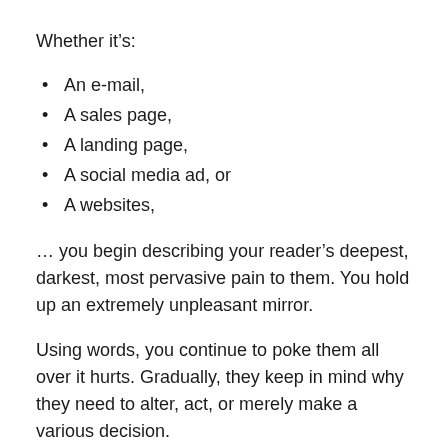Whether it's:
An e-mail,
A sales page,
A landing page,
A social media ad, or
A websites,
… you begin describing your reader's deepest, darkest, most pervasive pain to them. You hold up an extremely unpleasant mirror.
Using words, you continue to poke them all over it hurts. Gradually, they keep in mind why they need to alter, act, or merely make a various decision.